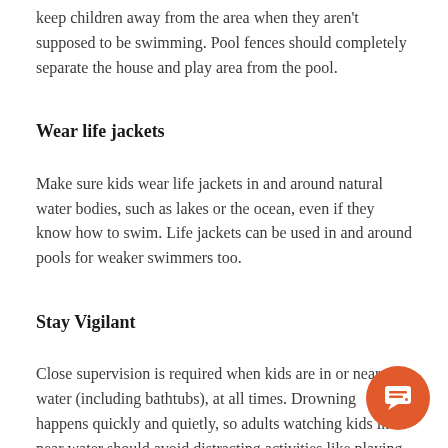keep children away from the area when they aren't supposed to be swimming. Pool fences should completely separate the house and play area from the pool.
Wear life jackets
Make sure kids wear life jackets in and around natural water bodies, such as lakes or the ocean, even if they know how to swim. Life jackets can be used in and around pools for weaker swimmers too.
Stay Vigilant
Close supervision is required when kids are in or near water (including bathtubs), at all times. Drowning happens quickly and quietly, so adults watching kids in or near water should avoid distracting activities like playing cards, reading books, talking on the phone and using alcohol or